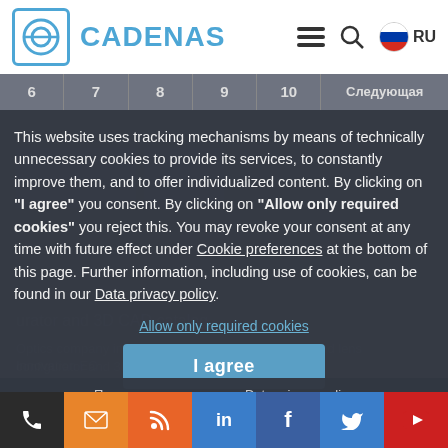CADENAS
6  7  8  9  10  Следующая
This website uses tracking mechanisms by means of technically unnecessary cookies to provide its services, to constantly improve them, and to offer individualized content. By clicking on "I agree" you consent. By clicking on "Allow only required cookies" you reject this. You may revoke your consent at any time with future effect under Cookie preferences at the bottom of this page. Further information, including use of cookies, can be found in our Data privacy policy.
Allow only required cookies
I agree
Правовые положения   Data privacy policy
Phone  Email  RSS  LinkedIn  Facebook  Twitter  YouTube